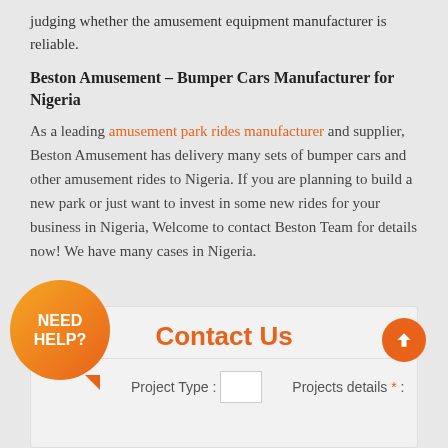judging whether the amusement equipment manufacturer is reliable.
Beston Amusement – Bumper Cars Manufacturer for Nigeria
As a leading amusement park rides manufacturer and supplier, Beston Amusement has delivery many sets of bumper cars and other amusement rides to Nigeria. If you are planning to build a new park or just want to invest in some new rides for your business in Nigeria, Welcome to contact Beston Team for details now! We have many cases in Nigeria.
Contact Us
Project Type :
Projects details * :